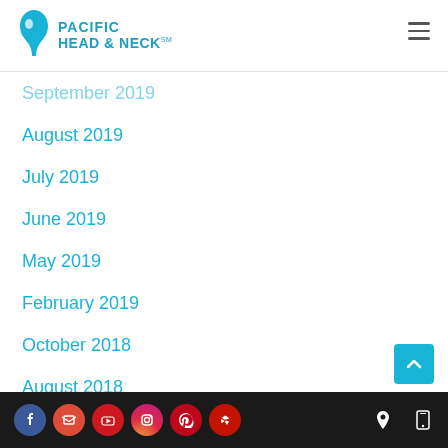Pacific Head & Neck
September 2019
August 2019
July 2019
June 2019
May 2019
February 2019
October 2018
August 2018
April 2018
January 2018
Social icons: Facebook, Google My Business, YouTube, Instagram, Pinterest, Yelp | Location | Phone